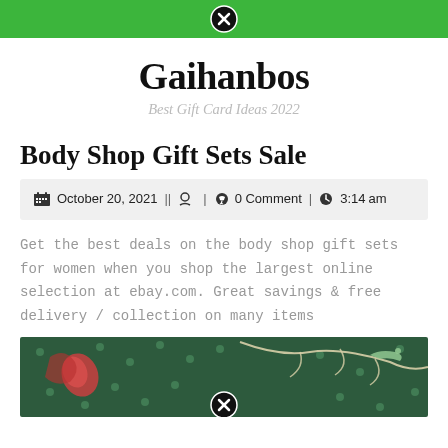Gaihanbos navigation bar with close button
Gaihanbos
Best Gift Card Ideas 2022
Body Shop Gift Sets Sale
October 20, 2021 | | 👤 | 💬 0 Comment | 🕒 3:14 am
Get the best deals on the body shop gift sets for women when you shop the largest online selection at ebay.com. Great savings & free delivery / collection on many items
[Figure (photo): Dark green gift wrap / product packaging with floral and bird decorative pattern in pink, white, and light green tones]